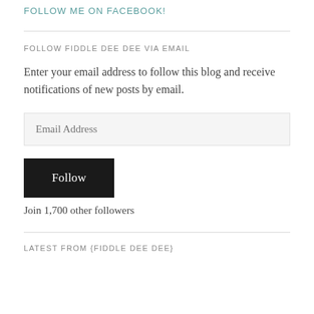FOLLOW ME ON FACEBOOK!
FOLLOW FIDDLE DEE DEE VIA EMAIL
Enter your email address to follow this blog and receive notifications of new posts by email.
Email Address
Follow
Join 1,700 other followers
LATEST FROM {FIDDLE DEE DEE}